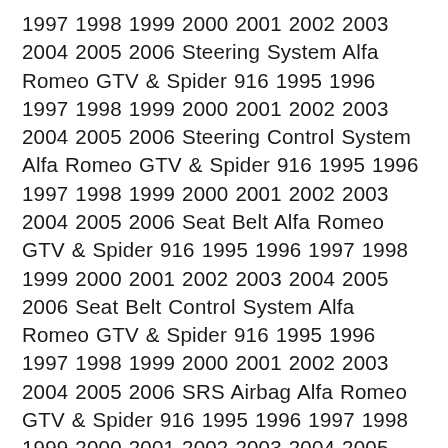1997 1998 1999 2000 2001 2002 2003 2004 2005 2006 Steering System Alfa Romeo GTV & Spider 916 1995 1996 1997 1998 1999 2000 2001 2002 2003 2004 2005 2006 Steering Control System Alfa Romeo GTV & Spider 916 1995 1996 1997 1998 1999 2000 2001 2002 2003 2004 2005 2006 Seat Belt Alfa Romeo GTV & Spider 916 1995 1996 1997 1998 1999 2000 2001 2002 2003 2004 2005 2006 Seat Belt Control System Alfa Romeo GTV & Spider 916 1995 1996 1997 1998 1999 2000 2001 2002 2003 2004 2005 2006 SRS Airbag Alfa Romeo GTV & Spider 916 1995 1996 1997 1998 1999 2000 2001 2002 2003 2004 2005 2006 SRS Airbag Control System Alfa Romeo GTV & Spider 916 1995 1996 1997 1998 1999 2000 2001 2002 2003 2004 2005 2006 Ventilation System Alfa Romeo GTV & Spider 916 1995 1996 1997 1998 1999 2000 2001 2002 2003 2004 2005 2006 Heater and Air Conditioning System Alfa Romeo GTV & Spider 916 1995 1996